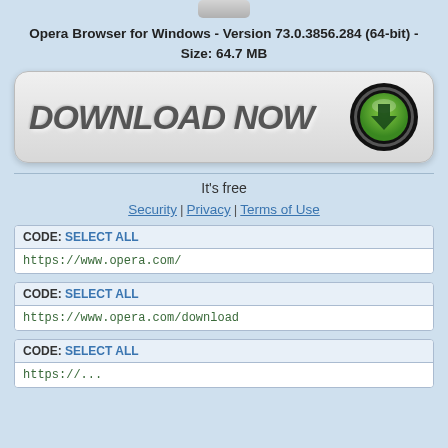[Figure (other): Grey pill-shaped top icon area at very top]
Opera Browser for Windows - Version 73.0.3856.284 (64-bit) - Size: 64.7 MB
[Figure (other): Large DOWNLOAD NOW button with grey rounded rectangle background and green download icon circle on the right]
It's free
Security | Privacy | Terms of Use
CODE: SELECT ALL
https://www.opera.com/
CODE: SELECT ALL
https://www.opera.com/download
CODE: SELECT ALL
https://...